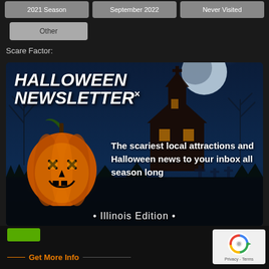2021 Season
September 2022
Never Visited
Other
Scare Factor:
[Figure (screenshot): Halloween Newsletter popup modal with spooky background showing haunted house, full moon, gravestones, and jack-o-lantern pumpkin. Title reads 'HALLOWEEN NEWSLETTER' with X close button. Text: 'The scariest local attractions and Halloween news to your inbox all season long'. Subtitle: '• Illinois Edition •'. Email input field with placeholder '[your email]' and orange 'Join' button.]
• Illinois Edition •
Get More Info